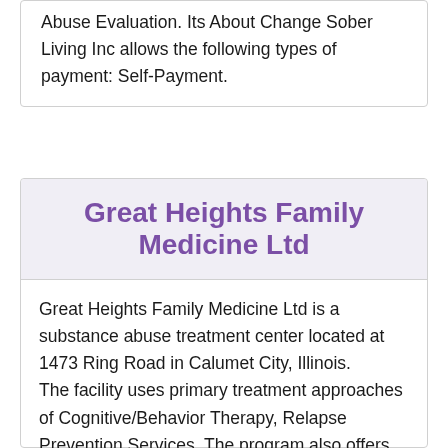Abuse Evaluation. Its About Change Sober Living Inc allows the following types of payment: Self-Payment.
Great Heights Family Medicine Ltd
Great Heights Family Medicine Ltd is a substance abuse treatment center located at 1473 Ring Road in Calumet City, Illinois.
The facility uses primary treatment approaches of Cognitive/Behavior Therapy, Relapse Prevention Services. The program also offers these services in the following settings: Outpatient Drug Abuse Treatment.